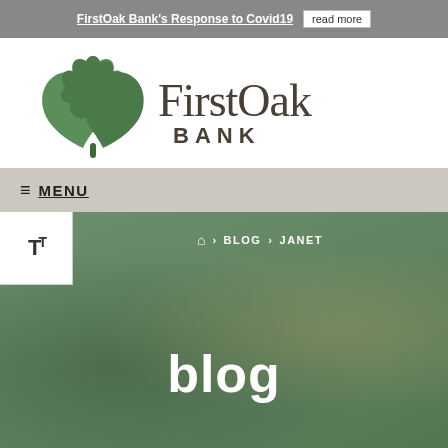FirstOak Bank's Response to Covid19  read more
[Figure (logo): FirstOak Bank logo with green oak leaf icon and stylized text 'FirstOak BANK']
≡ MENU
🏠 › BLOG › JANET
blog